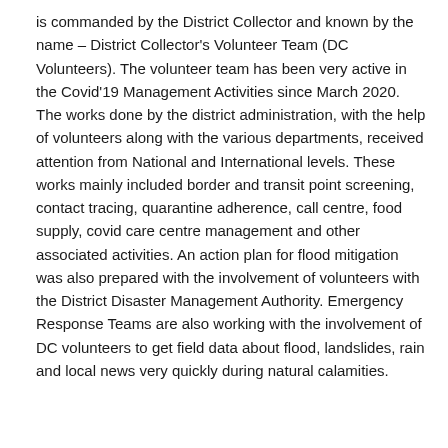is commanded by the District Collector and known by the name – District Collector's Volunteer Team (DC Volunteers). The volunteer team has been very active in the Covid'19 Management Activities since March 2020. The works done by the district administration, with the help of volunteers along with the various departments, received attention from National and International levels. These works mainly included border and transit point screening, contact tracing, quarantine adherence, call centre, food supply, covid care centre management and other associated activities. An action plan for flood mitigation was also prepared with the involvement of volunteers with the District Disaster Management Authority. Emergency Response Teams are also working with the involvement of DC volunteers to get field data about flood, landslides, rain and local news very quickly during natural calamities.